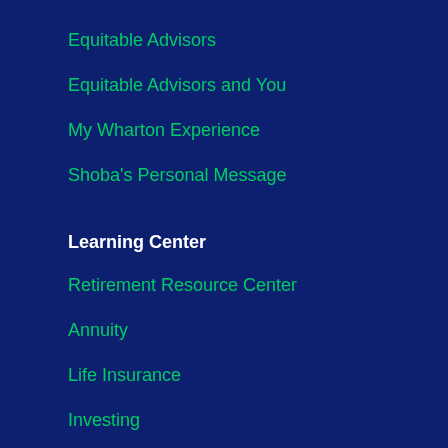Equitable Advisors
Equitable Advisors and You
My Wharton Experience
Shoba's Personal Message
Learning Center
Retirement Resource Center
Annuity
Life Insurance
Investing
Other Learning Tools